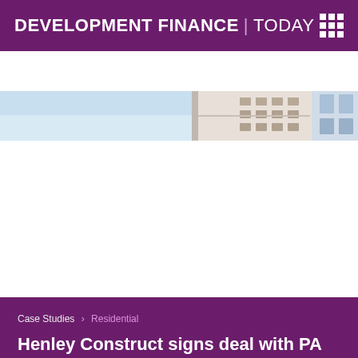DEVELOPMENT FINANCE | TODAY
[Figure (photo): Exterior view of a modern multi-storey residential or commercial building, showing facade, windows, and light blue sky.]
Case Studies > Residential
Henley Construct signs deal with PA